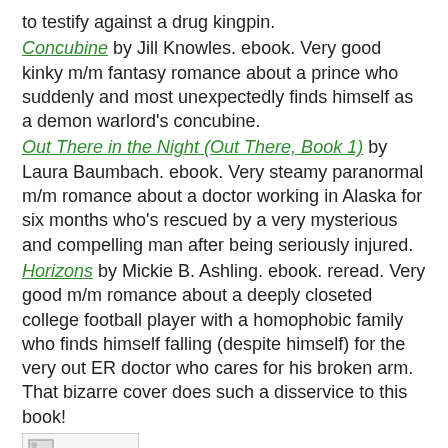to testify against a drug kingpin.
Concubine by Jill Knowles. ebook. Very good kinky m/m fantasy romance about a prince who suddenly and most unexpectedly finds himself as a demon warlord's concubine.
Out There in the Night (Out There, Book 1) by Laura Baumbach. ebook. Very steamy paranormal m/m romance about a doctor working in Alaska for six months who's rescued by a very mysterious and compelling man after being seriously injured.
Horizons by Mickie B. Ashling. ebook. reread. Very good m/m romance about a deeply closeted college football player with a homophobic family who finds himself falling (despite himself) for the very out ER doctor who cares for his broken arm. That bizarre cover does such a disservice to this book!
[Figure (other): Broken image placeholder thumbnail]
Accidentally His by Shawn Lane. ebook. Good